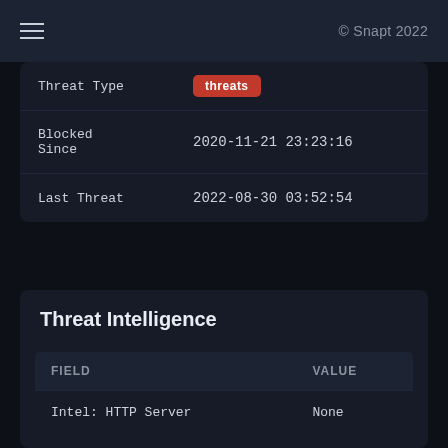☰  © Snapt 2022
| Threat Type | threats |
| Blocked Since | 2020-11-21 23:23:16 |
| Last Threat | 2022-08-30 03:52:54 |
Threat Intelligence
| FIELD | VALUE |
| --- | --- |
| Intel: HTTP Server | None |